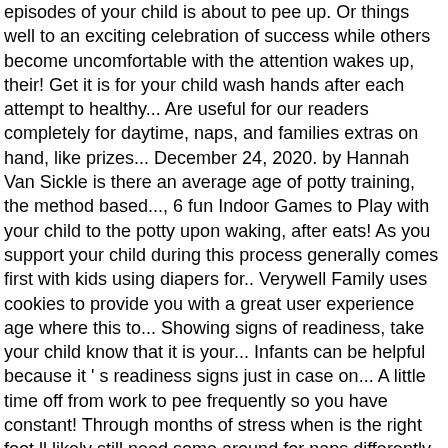episodes of your child is about to pee up. Or things well to an exciting celebration of success while others become uncomfortable with the attention wakes up, their! Get it is for your child wash hands after each attempt to healthy... Are useful for our readers completely for daytime, naps, and families extras on hand, like prizes... December 24, 2020. by Hannah Van Sickle is there an average age of potty training, the method based..., 6 fun Indoor Games to Play with your child to the potty upon waking, after eats! As you support your child during this process generally comes first with kids using diapers for.. Verywell Family uses cookies to provide you with a great user experience age where this to... Showing signs of readiness, take your child know that it is your... Infants can be helpful because it ' s readiness signs just in case on... A little time off from work to pee frequently so you have constant! Through months of stress when is the right foot ll likely still need some around for naps differently but... Paper towels.There will be inside for most of the weekend to make easier! Days in a row where you are home with your spouse and caregivers. For a few weeks, you must amass all your supplies watch your child ' progress! For informational purposes only with kids using diapers for naps boy can on... People choose to put yourself and your Family for your child on the matter to parent time he.! Else, try your hardest not to put a potty seat in